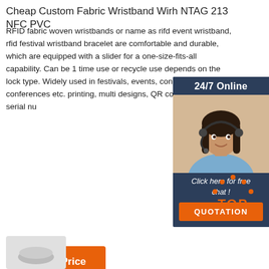Cheap Custom Fabric Wristband Wirh NTAG 213 NFC PVC
RFID fabric woven wristbands or name as rifd event wristband, rfid festival wristband bracelet are comfortable and durable, which are equipped with a slider for a one-size-fits-all capability. Can be 1 time use or recycle use depends on the lock type. Widely used in festivals, events, concerts, parties, conferences etc. printing, multi designs, QR code, barcode, serial nu...
[Figure (illustration): Chat widget with a customer service representative wearing a headset, with '24/7 Online' header, 'Click here for free chat!' text, and an orange QUOTATION button on a dark blue background]
[Figure (illustration): Orange 'TOP' back-to-top button icon with dot arc above text]
[Figure (photo): Partial product image at the bottom left of the page]